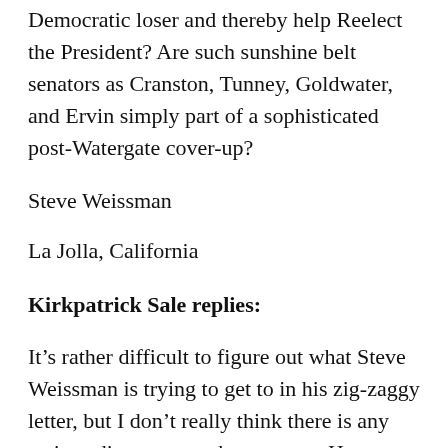Democratic loser and thereby help Reelect the President? Are such sunshine belt senators as Cranston, Tunney, Goldwater, and Ervin simply part of a sophisticated post-Watergate cover-up?
Steve Weissman
La Jolla, California
Kirkpatrick Sale replies:
It’s rather difficult to figure out what Steve Weissman is trying to get to in his zig-zaggy letter, but I don’t really think there is any serious disagreement between us. He agrees with me that the emergence to power of the Southern rimsters is